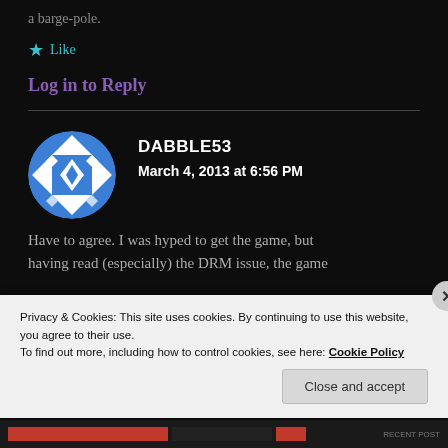a barge-pole.
★ Like
Log in to Reply
DABBLE53
March 4, 2013 at 6:56 PM
Have to agree. I was hyped to get the game, but having read (especially) the DRM issue, the game
Privacy & Cookies: This site uses cookies. By continuing to use this website, you agree to their use.
To find out more, including how to control cookies, see here: Cookie Policy
Close and accept